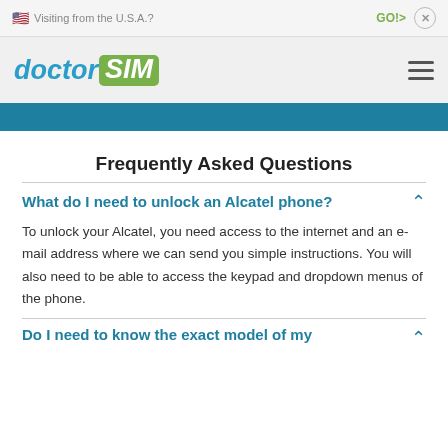Visiting from the U.S.A.? GO!> x
[Figure (logo): doctorSIM logo with hamburger menu icon]
Frequently Asked Questions
What do I need to unlock an Alcatel phone?
To unlock your Alcatel, you need access to the internet and an e-mail address where we can send you simple instructions. You will also need to be able to access the keypad and dropdown menus of the phone.
Do I need to know the exact model of my